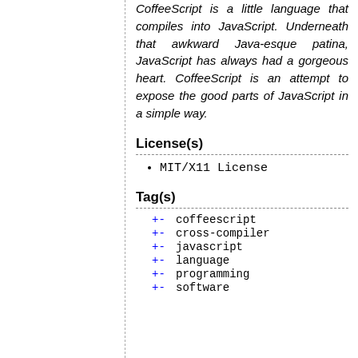CoffeeScript is a little language that compiles into JavaScript. Underneath that awkward Java-esque patina, JavaScript has always had a gorgeous heart. CoffeeScript is an attempt to expose the good parts of JavaScript in a simple way.
License(s)
MIT/X11 License
Tag(s)
+- coffeescript
+- cross-compiler
+- javascript
+- language
+- programming
+- software